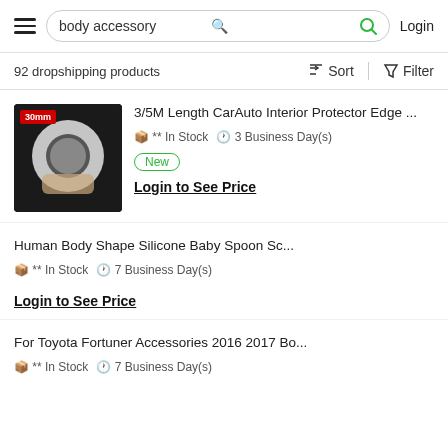body accessory | Login
92 dropshipping products
Sort  Filter
3/5M Length CarAuto Interior Protector Edge ...
** In Stock   3 Business Day(s)
New
Login to See Price
Human Body Shape Silicone Baby Spoon Sc...
** In Stock   7 Business Day(s)
Login to See Price
For Toyota Fortuner Accessories 2016 2017 Bo...
** In Stock   7 Business Day(s)